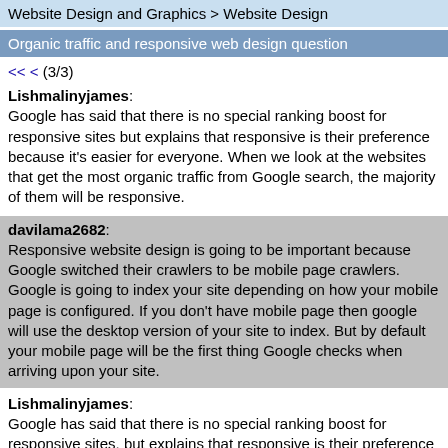Website Design and Graphics > Website Design
Organic traffic and responsive web design question
<< < (3/3)
Lishmalinyjames: Google has said that there is no special ranking boost for responsive sites but explains that responsive is their preference because it's easier for everyone. When we look at the websites that get the most organic traffic from Google search, the majority of them will be responsive.
davilama2682: Responsive website design is going to be important because Google switched their crawlers to be mobile page crawlers. Google is going to index your site depending on how your mobile page is configured. If you don't have mobile page then google will use the desktop version of your site to index. But by default your mobile page will be the first thing Google checks when arriving upon your site.
Lishmalinyjames: Google has said that there is no special ranking boost for responsive sites, but explains that responsive is their preference